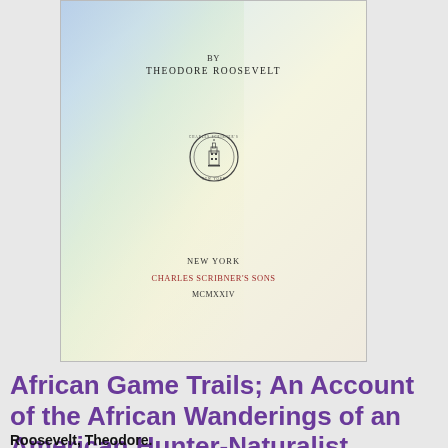[Figure (photo): Photograph of a book title page showing 'BY THEODORE ROOSEVELT' with a publisher's circular seal/logo in the center, and at the bottom 'NEW YORK / CHARLES SCRIBNER'S SONS / MCMXXIV'. The page has a colorful iridescent shimmer on the left side.]
African Game Trails; An Account of the African Wanderings of an American Hunter-Naturalist
Roosevelt, Theodore.